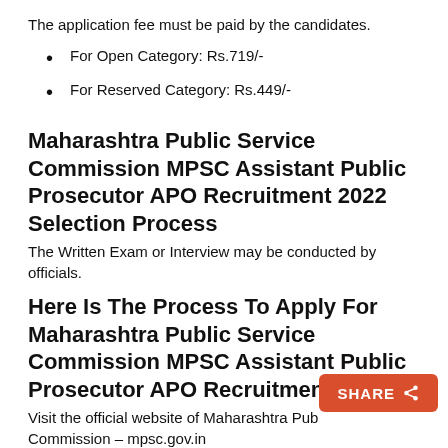The application fee must be paid by the candidates.
For Open Category: Rs.719/-
For Reserved Category: Rs.449/-
Maharashtra Public Service Commission MPSC Assistant Public Prosecutor APO Recruitment 2022 Selection Process
The Written Exam or Interview may be conducted by officials.
Here Is The Process To Apply For Maharashtra Public Service Commission MPSC Assistant Public Prosecutor APO Recruitment 2022
Visit the official website of Maharashtra Public Service Commission – mpsc.gov.in